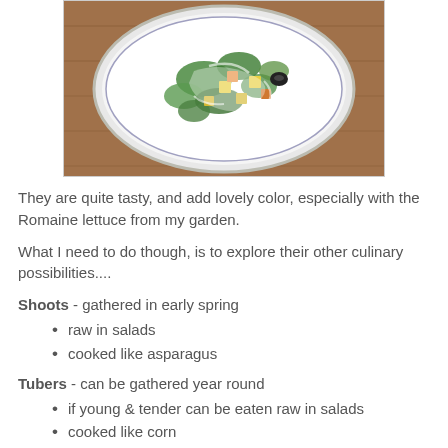[Figure (photo): A white plate with a salad containing green lettuce leaves, yellow and orange cubed vegetables, and a black olive, on a wooden surface with white dressing drizzled over.]
They are quite tasty, and add lovely color, especially with the Romaine lettuce from my garden.
What I need to do though, is to explore their other culinary possibilities....
Shoots - gathered in early spring
raw in salads
cooked like asparagus
Tubers - can be gathered year round
if young & tender can be eaten raw in salads
cooked like corn
Buds & Flowers - gathered in summer
fried like fritters